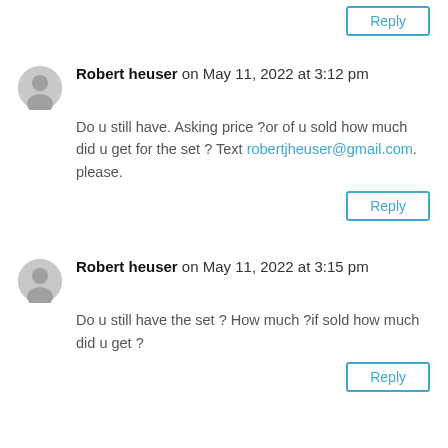[Figure (other): Partial reply button at top of page]
Robert heuser on May 11, 2022 at 3:12 pm
Do u still have. Asking price ?or of u sold how much did u get for the set ? Text robertjheuser@gmail.com. please.
Reply
Robert heuser on May 11, 2022 at 3:15 pm
Do u still have the set ? How much ?if sold how much did u get ?
Reply